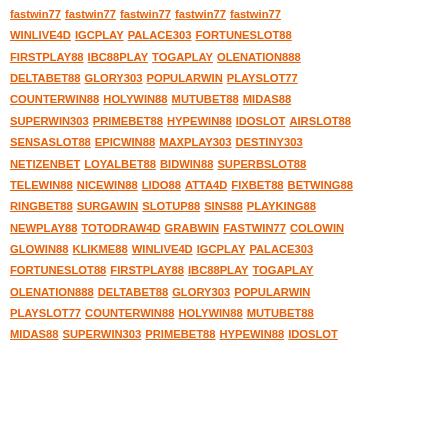fastwin77 fastwin77 fastwin77 fastwin77 fastwin77
WINLIVE4D IGCPLAY PALACE303 FORTUNESLOT88
FIRSTPLAY88 IBC88PLAY TOGAPLAY OLENATION888
DELTABET88 GLORY303 POPULARWIN PLAYSLOT77
COUNTERWIN88 HOLYWIN88 MUTUBET88 MIDAS88
SUPERWIN303 PRIMEBET88 HYPEWIN88 IDOSLOT AIRSLOT88
SENSASLOT88 EPICWIN88 MAXPLAY303 DESTINY303
NETIZENBET LOYALBET88 BIDWIN88 SUPERBSLOT88
TELEWIN88 NICEWIN88 LIDO88 ATTA4D FIXBET88 BETWING88
RINGBET88 SURGAWIN SLOTUP88 SINS88 PLAYKING88
NEWPLAY88 TOTODRAW4D GRABWIN FASTWIN77 COLOWIN
GLOWIN88 KLIKME88 WINLIVE4D IGCPLAY PALACE303
FORTUNESLOT88 FIRSTPLAY88 IBC88PLAY TOGAPLAY
OLENATION888 DELTABET88 GLORY303 POPULARWIN
PLAYSLOT77 COUNTERWIN88 HOLYWIN88 MUTUBET88
MIDAS88 SUPERWIN303 PRIMEBET88 HYPEWIN88 IDOSLOT